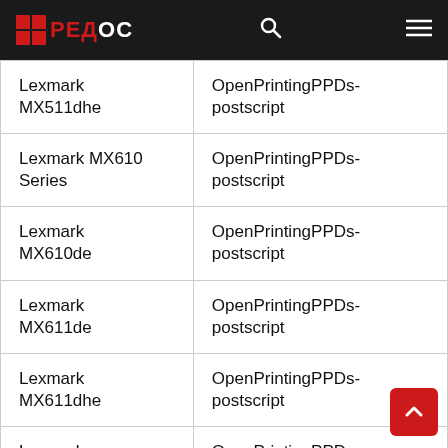РЕДОС
| Устройство | Пакет |
| --- | --- |
| Lexmark MX511dhe | OpenPrintingPPDs-postscript |
| Lexmark MX610 Series | OpenPrintingPPDs-postscript |
| Lexmark MX610de | OpenPrintingPPDs-postscript |
| Lexmark MX611de | OpenPrintingPPDs-postscript |
| Lexmark MX611dhe | OpenPrintingPPDs-postscript |
| Lexmark MX6500e | OpenPrintingPPDs-postscript |